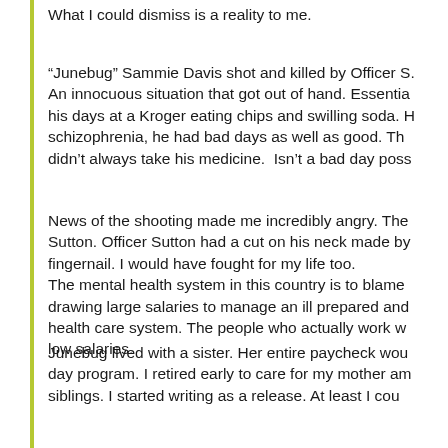What I could dismiss is a reality to me.
“Junebug” Sammie Davis shot and killed by Officer S. An innocuous situation that got out of hand. Essentia his days at a Kroger eating chips and swilling soda. schizophrenia, he had bad days as well as good. Th didn’t always take his medicine.  Isn’t a bad day poss
News of the shooting made me incredibly angry. The Sutton. Officer Sutton had a cut on his neck made by fingernail. I would have fought for my life too. The mental health system in this country is to blame drawing large salaries to manage an ill prepared and health care system. The people who actually work w low salaries.
Junebug lived with a sister. Her entire paycheck wou day program. I retired early to care for my mother am siblings. I started writing as a release. At least I cou